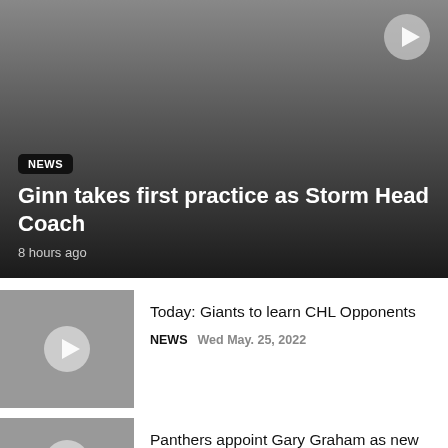[Figure (screenshot): Hero image with gradient overlay showing a news article card]
Ginn takes first practice as Storm Head Coach
8 hours ago
[Figure (screenshot): Thumbnail image with play button for CHL Opponents article]
Today: Giants to learn CHL Opponents
NEWS  Wed May. 25, 2022
[Figure (screenshot): Thumbnail image with play button for Gary Graham article]
Panthers appoint Gary Graham as new Head Coach